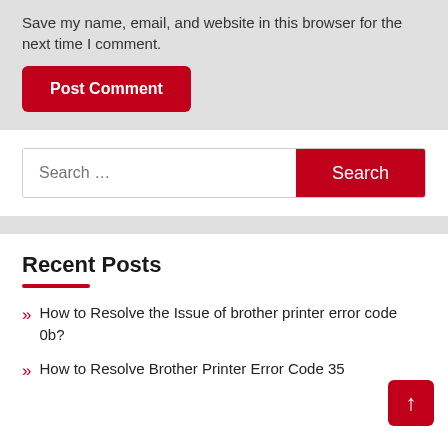Save my name, email, and website in this browser for the next time I comment.
Post Comment
Search ...
Search
Recent Posts
How to Resolve the Issue of brother printer error code 0b?
How to Resolve Brother Printer Error Code 35